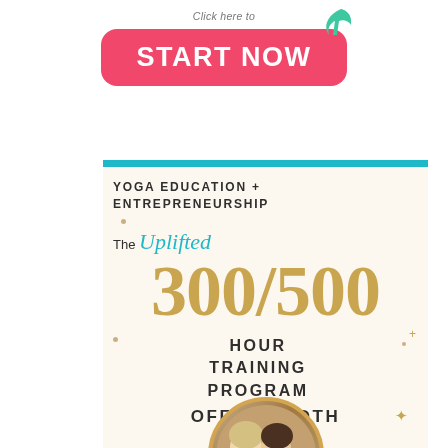[Figure (other): Pink rounded button with 'Click here to START NOW' text and a green leaf/hand icon above]
[Figure (infographic): Promotional card for The Uplifted 300/500 Hour Yoga Training Program with teal top bar, gold large numbers, and a circular photo of two women at the bottom]
YOGA EDUCATION + ENTREPRENEURSHIP
The Uplifted
300/500
HOUR TRAINING PROGRAM
OFFERS BOTH